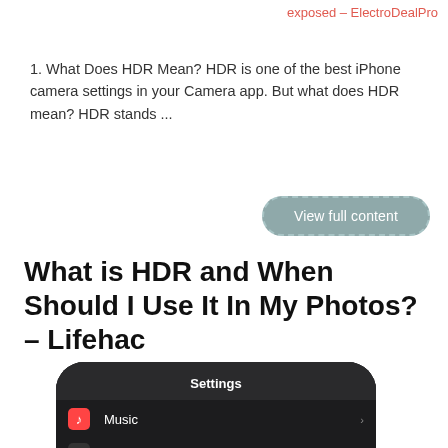exposed – ElectroDealPro
1. What Does HDR Mean? HDR is one of the best iPhone camera settings in your Camera app. But what does HDR mean? HDR stands ...
View full content
What is HDR and When Should I Use It In My Photos? – Lifehac
[Figure (screenshot): iPhone Settings screen showing list items: Music, TV, Photos, Camera (highlighted with red border), Books, Podcasts, Game Center]